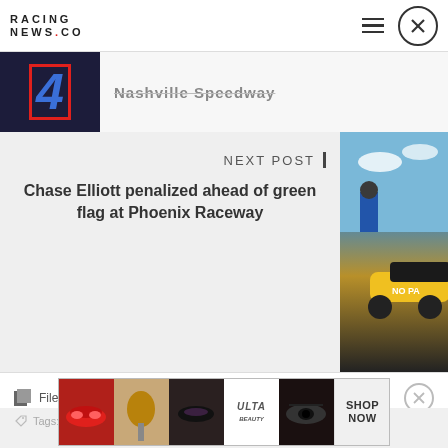RACING NEWS.CO
[Figure (photo): Thumbnail showing racing car number 4 with blue and red colors on dark background]
Nashville Speedway
NEXT POST |
Chase Elliott penalized ahead of green flag at Phoenix Raceway
[Figure (photo): Racing photo showing a person in blue outfit near a race car]
Filed Under: NASCAR Cup Series